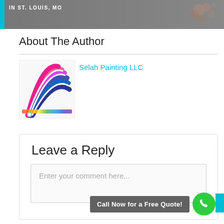[Figure (photo): Top strip image showing a dark background with text overlay 'IN ST. LOUIS, MO' and a blue vertical bar on left, with some decorative element on the right.]
About The Author
[Figure (photo): Color paint swatch fan showing multiple colors including pink, magenta, blue, purple, and rainbow spectrum at the bottom.]
Selah Painting LLC
Leave a Reply
Enter your comment here...
Call Now for a Free Quote!